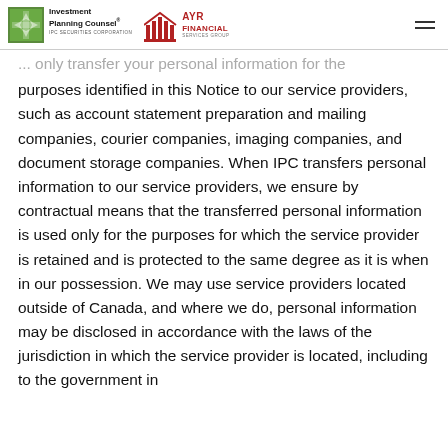Investment Planning Counsel® IPC SECURITIES CORPORATION | AYR FINANCIAL SERVICES GROUP
... only transfer your personal information for the purposes identified in this Notice to our service providers, such as account statement preparation and mailing companies, courier companies, imaging companies, and document storage companies. When IPC transfers personal information to our service providers, we ensure by contractual means that the transferred personal information is used only for the purposes for which the service provider is retained and is protected to the same degree as it is when in our possession. We may use service providers located outside of Canada, and where we do, personal information may be disclosed in accordance with the laws of the jurisdiction in which the service provider is located, including to the government in